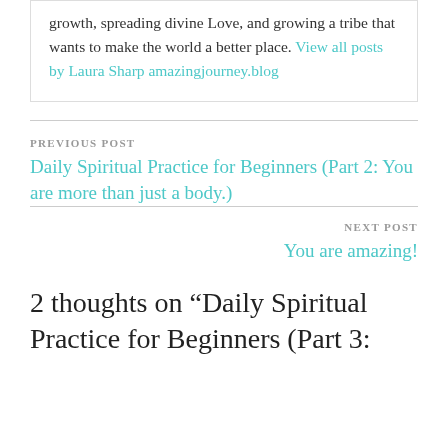growth, spreading divine Love, and growing a tribe that wants to make the world a better place. View all posts by Laura Sharp amazingjourney.blog
PREVIOUS POST
Daily Spiritual Practice for Beginners (Part 2: You are more than just a body.)
NEXT POST
You are amazing!
2 thoughts on “Daily Spiritual Practice for Beginners (Part 3: